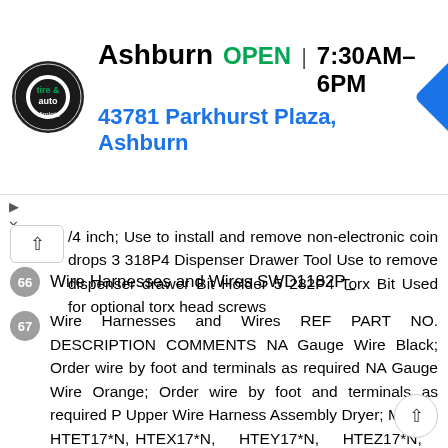[Figure (screenshot): Advertisement banner for Virginia Tire & Auto, Ashburn location. Shows logo, business name, OPEN status, hours 7:30AM-6PM, address 43781 Parkhurst Plaza Ashburn, and navigation icon.]
/4 inch; Use to install and remove non-electronic coin drops 3 318P4 Dispenser Drawer Tool Use to remove dispenser drawer Bit Holder 5 282P4 Torx Bit Used for optional torx head screws
66 Wire Harnesses and Wires SWD1182P_
67 Wire Harnesses and Wires REF PART NO. DESCRIPTION COMMENTS NA Gauge Wire Black; Order wire by foot and terminals as required NA Gauge Wire Orange; Order wire by foot and terminals as required P Upper Wire Harness Assembly Dryer; Models HTET17*N, HTEX17*N, HTEY17*N, HTEZ17*N, STEA17*N, STEB17*N, STEF17*N, STET17*N, STEX17*N, STEY17*N and STEZ17*N P Wire Harness Assembly Dryer; All other models P Wire Harness Dryer security cabinet; Models HTET17*N, HTEX17*N, HTEY17*N, HTEZ17*N, STEA17*N, STEB17*N, STEF17*N, STET17*N, STEX17*N,